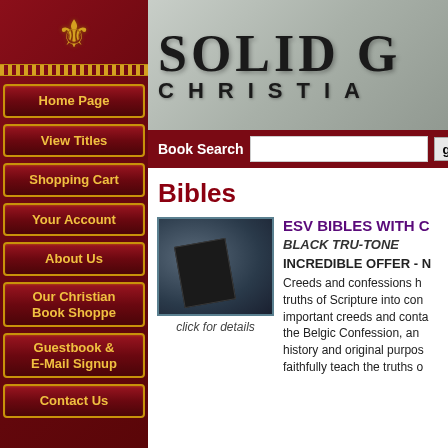[Figure (screenshot): Website screenshot of Solid Ground Christian Books with red sidebar navigation and main content area]
Home Page
View Titles
Shopping Cart
Your Account
About Us
Our Christian Book Shoppe
Guestbook & E-Mail Signup
Contact Us
[Figure (screenshot): Solid Ground Christian header logo on granite background]
Bibles
[Figure (photo): Person holding a Bible, product photo]
click for details
ESV BIBLES WITH C
BLACK TRU-TONE
INCREDIBLE OFFER - N
Creeds and confessions h... truths of Scripture into con... important creeds and conta... the Belgic Confession, an... history and original purpos... faithfully teach the truths o...